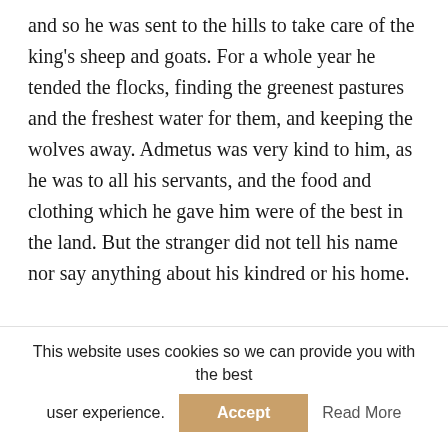and so he was sent to the hills to take care of the king's sheep and goats. For a whole year he tended the flocks, finding the greenest pastures and the freshest water for them, and keeping the wolves away. Admetus was very kind to him, as he was to all his servants, and the food and clothing which he gave him were of the best in the land. But the stranger did not tell his name nor say anything about his kindred or his home.

When a year and a day had passed, it so happened that Admetus was walking out among the hills to see his sheep. All at once the sound of music fell upon his ear. It was no such music as shepherds play, but sweeter and richer than any he had ever heard before. He
This website uses cookies so we can provide you with the best user experience.
Accept
Read More